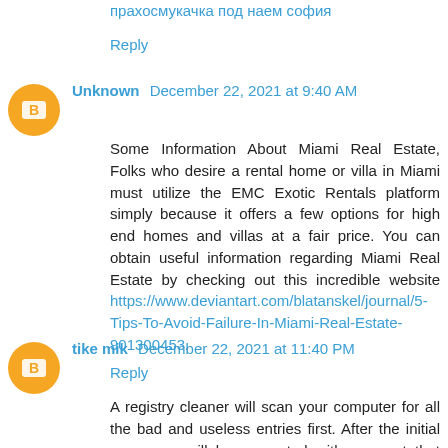прахосмукачка под наем софия
Reply
Unknown  December 22, 2021 at 9:40 AM
Some Information About Miami Real Estate, Folks who desire a rental home or villa in Miami must utilize the EMC Exotic Rentals platform simply because it offers a few options for high end homes and villas at a fair price. You can obtain useful information regarding Miami Real Estate by checking out this incredible website https://www.deviantart.com/blatanskel/journal/5-Tips-To-Avoid-Failure-In-Miami-Real-Estate-901300453.
Reply
tike mik  December 22, 2021 at 11:40 PM
A registry cleaner will scan your computer for all the bad and useless entries first. After the initial scan, you will be presented with a report that details the total number of